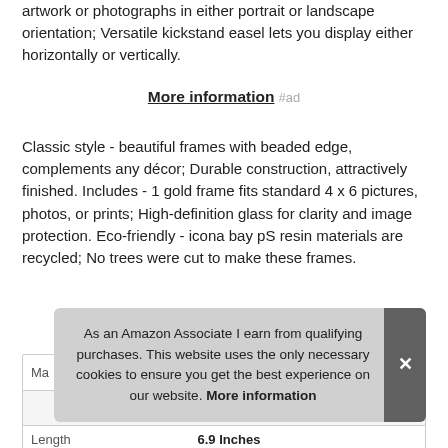artwork or photographs in either portrait or landscape orientation; Versatile kickstand easel lets you display either horizontally or vertically.
More information #ad
Classic style - beautiful frames with beaded edge, complements any décor; Durable construction, attractively finished. Includes - 1 gold frame fits standard 4 x 6 pictures, photos, or prints; High-definition glass for clarity and image protection. Eco-friendly - icona bay pS resin materials are recycled; No trees were cut to make these frames.
| Ma |  |
| Length | 6.9 Inches |
As an Amazon Associate I earn from qualifying purchases. This website uses the only necessary cookies to ensure you get the best experience on our website. More information